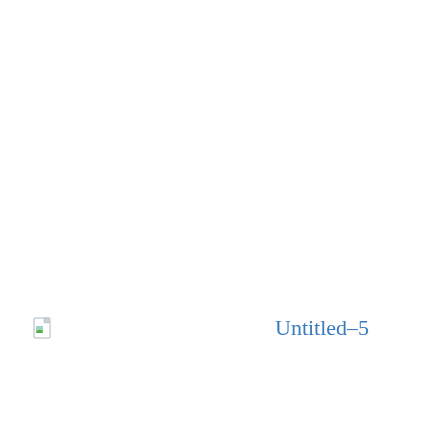[Figure (other): Broken image placeholder icon (small document with green corner) followed by the text label 'Untitled-5' in blue, positioned in the lower-left area of an otherwise blank white page.]